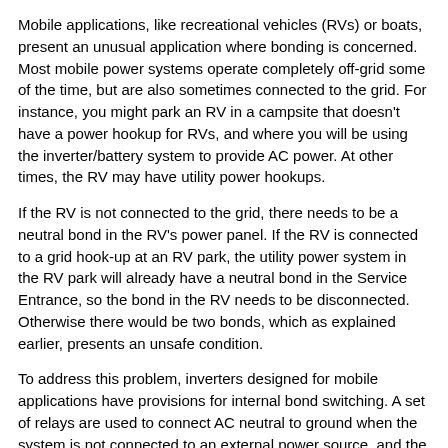Mobile applications, like recreational vehicles (RVs) or boats, present an unusual application where bonding is concerned. Most mobile power systems operate completely off-grid some of the time, but are also sometimes connected to the grid. For instance, you might park an RV in a campsite that doesn't have a power hookup for RVs, and where you will be using the inverter/battery system to provide AC power. At other times, the RV may have utility power hookups.
If the RV is not connected to the grid, there needs to be a neutral bond in the RV's power panel. If the RV is connected to a grid hook-up at an RV park, the utility power system in the RV park will already have a neutral bond in the Service Entrance, so the bond in the RV needs to be disconnected. Otherwise there would be two bonds, which as explained earlier, presents an unsafe condition.
To address this problem, inverters designed for mobile applications have provisions for internal bond switching. A set of relays are used to connect AC neutral to ground when the system is not connected to an external power source, and the relays will disconnect the neutral from ground if the system is connected to an external power source (grid or generator).